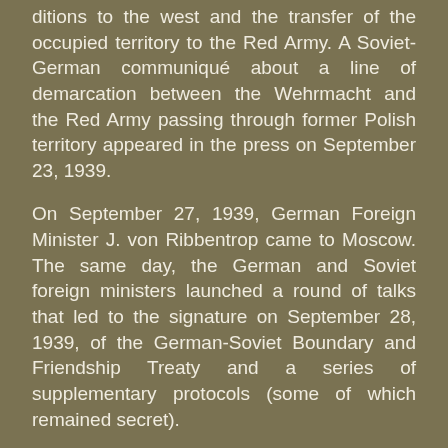ditions to the west and the transfer of the occupied territory to the Red Army. A Soviet-German communiqué about a line of demarcation between the Wehrmacht and the Red Army passing through former Polish territory appeared in the press on September 23, 1939.
On September 27, 1939, German Foreign Minister J. von Ribbentrop came to Moscow. The same day, the German and Soviet foreign ministers launched a round of talks that led to the signature on September 28, 1939, of the German-Soviet Boundary and Friendship Treaty and a series of supplementary protocols (some of which remained secret).
The treaty defined the border between Germany and the USSR as mostly running along the rivers San and Bug, which basically coincided with the so-called Curzon Line that had been proposed as far back as 1919 by Great Britain and other Entente powers as a fair border between Poland and the Soviet republics. At the same time, the secret supplementary protocol, which modified the Soviet--German agreement of August 23, 1939, ceded Lithuani-